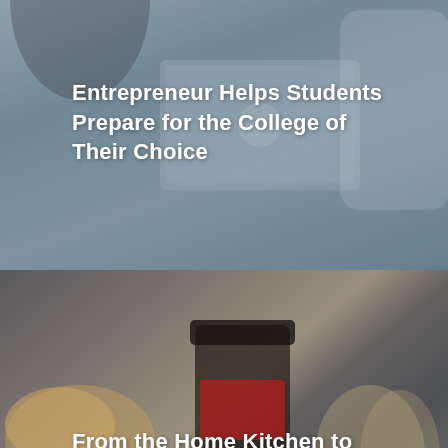[Figure (photo): Two people working at a laptop computer, business or tutoring setting, muted blue-grey overlay]
Entrepreneur Helps Students Prepare for the College of Their Choice
[Figure (photo): Food products on a kitchen counter including a jar of LAHTT SAUCE Asian Gourmet Hot Sauce, bread rolls, tacos, and small dipping cups, with a blue-grey overlay]
From the Home Kitchen to the Co-Packing Facility
[Figure (photo): Food preparation surface with baked goods and sauce, similar to the middle panel, partially visible at bottom of page]